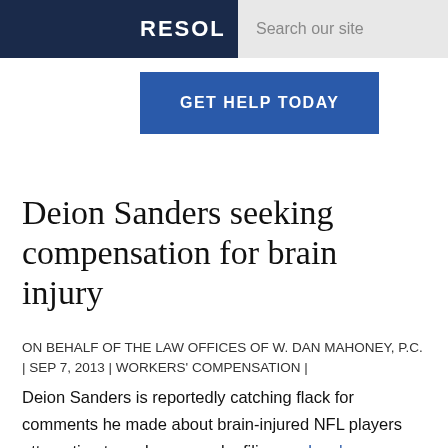RESOL | Search our site
GET HELP TODAY
Deion Sanders seeking compensation for brain injury
ON BEHALF OF THE LAW OFFICES OF W. DAN MAHONEY, P.C. | SEP 7, 2013 | WORKERS' COMPENSATION |
Deion Sanders is reportedly catching flack for comments he made about brain-injured NFL players attempting to make money by filing workers' compensation claims. Those comments, made back in February during the pregame show in New Orleans, came about two years after Sanders filed his own workers' compensation claim in California, claiming